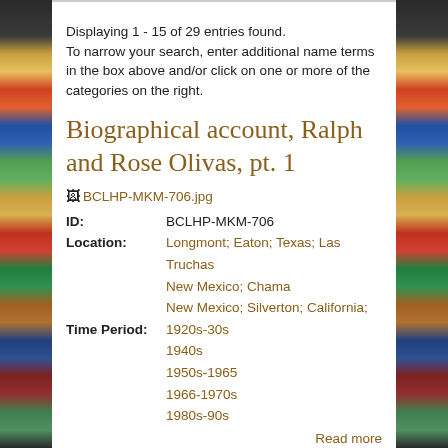Displaying 1 - 15 of 29 entries found.
To narrow your search, enter additional name terms in the box above and/or click on one or more of the categories on the right.
Biographical account, Ralph and Rose Olivas, pt. 1
BCLHP-MKM-706.jpg
ID: BCLHP-MKM-706
Location: Longmont; Eaton; Texas; Las Truchas New Mexico; Chama New Mexico; Silverton; California;
Time Period: 1920s-30s 1940s 1950s-1965 1966-1970s 1980s-90s
Read more